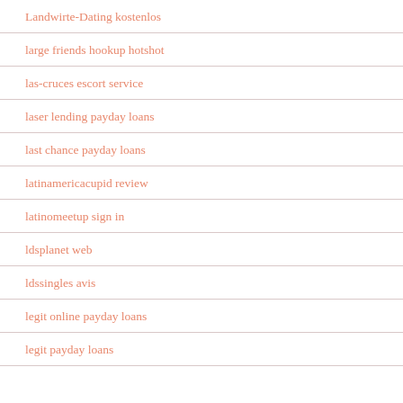Landwirte-Dating kostenlos
large friends hookup hotshot
las-cruces escort service
laser lending payday loans
last chance payday loans
latinamericacupid review
latinomeetup sign in
ldsplanet web
ldssingles avis
legit online payday loans
legit payday loans